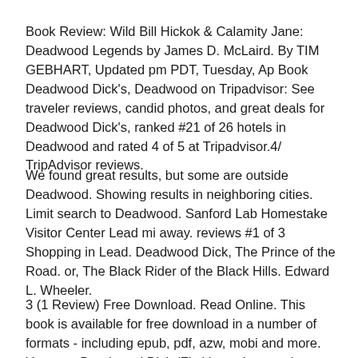Book Review: Wild Bill Hickok & Calamity Jane: Deadwood Legends by James D. McLaird. By TIM GEBHART, Updated pm PDT, Tuesday, Ap Book Deadwood Dick's, Deadwood on Tripadvisor: See traveler reviews, candid photos, and great deals for Deadwood Dick's, ranked #21 of 26 hotels in Deadwood and rated 4 of 5 at Tripadvisor.4/ TripAdvisor reviews.
We found great results, but some are outside Deadwood. Showing results in neighboring cities. Limit search to Deadwood. Sanford Lab Homestake Visitor Center Lead mi away. reviews #1 of 3 Shopping in Lead. Deadwood Dick, The Prince of the Road. or, The Black Rider of the Black Hills. Edward L. Wheeler.
3 (1 Review) Free Download. Read Online. This book is available for free download in a number of formats - including epub, pdf, azw, mobi and more. You can. Deadwood Dick (Fictitious character)--Fiction.